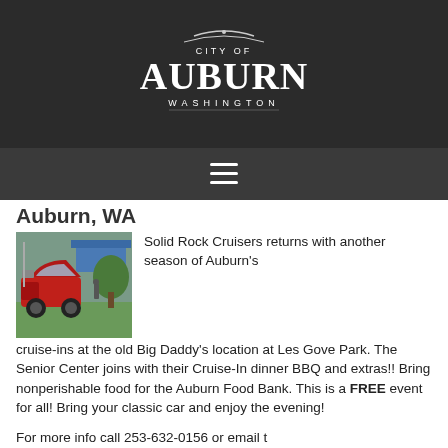[Figure (logo): City of Auburn, Washington logo in white on dark background]
[Figure (illustration): Hamburger menu icon (three horizontal white lines) on dark background]
Auburn, WA
[Figure (photo): A red classic truck at a car cruise-in event, parked on grass with other vehicles and tents in the background]
Solid Rock Cruisers returns with another season of Auburn's cruise-ins at the old Big Daddy's location at Les Gove Park. The Senior Center joins with their Cruise-In dinner BBQ and extras!! Bring nonperishable food for the Auburn Food Bank. This is a FREE event for all! Bring your classic car and enjoy the evening!
For more info call 253-632-0156 or email tigronnie@gmail.com. Thanks and